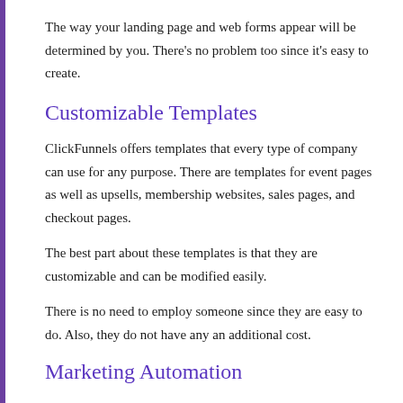The way your landing page and web forms appear will be determined by you. There's no problem too since it's easy to create.
Customizable Templates
ClickFunnels offers templates that every type of company can use for any purpose. There are templates for event pages as well as upsells, membership websites, sales pages, and checkout pages.
The best part about these templates is that they are customizable and can be modified easily.
There is no need to employ someone since they are easy to do. Also, they do not have any an additional cost.
Marketing Automation
Once you have built your email list, ClickFunnels takes it a step